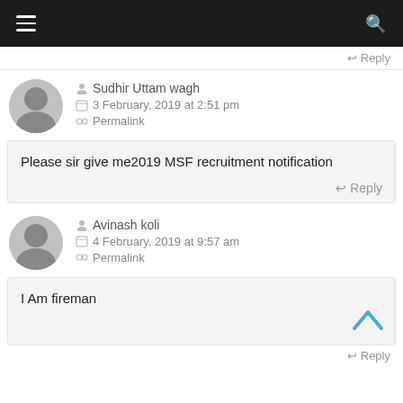Navigation bar with hamburger menu and search icon
↩ Reply
Sudhir Uttam wagh
3 February, 2019 at 2:51 pm
Permalink
Please sir give me2019 MSF recruitment notification
↩ Reply
Avinash koli
4 February, 2019 at 9:57 am
Permalink
I Am fireman
↩ Reply